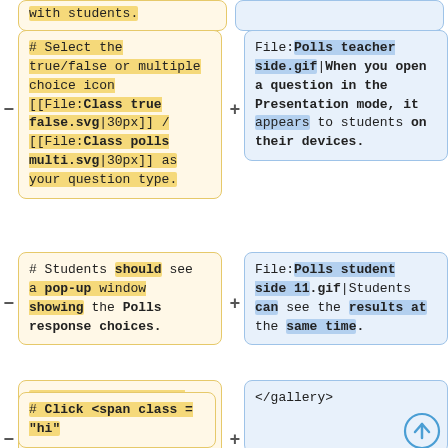with students.
# Select the true/false or multiple choice icon [[File:Class true false.svg|30px]] / [[File:Class polls multi.svg|30px]] as your question type.
File:Polls teacher side.gif|When you open a question in the Presentation mode, it appears to students on their devices.
# Students should see a pop-up window showing the Polls response choices.
File:Polls student side 11.gif|Students can see the results at the same time.
# As students select their answers, the teacher can view submitted responses under '''Finished'''.
</gallery>
# Click <span class = "hi"